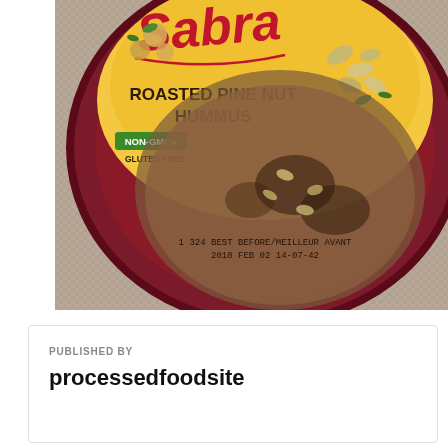[Figure (photo): Top-down photo of a Sabra Roasted Pine Nut Hummus container lid. The lid is dark red/maroon colored with a yellow label showing the Sabra brand name in red cursive, 'ROASTED PINE NUT HUMMUS' in bold dark text, a green 'NON-GMO' badge, 'GLUTEN FREE' text, and images of chickpeas and pine nuts. The transparent plastic window shows the hummus inside with pine nuts and herbs. A 'BEST BEFORE' date stamp is visible: '1 324 BEST BEFORE/MEILLEUR AVANT 2018 FEB 02 14-07-42'. The container sits on a woven/textured surface.]
PUBLISHED BY
processedfoodsite